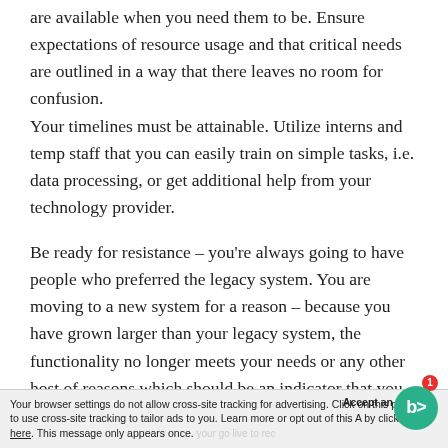are available when you need them to be. Ensure expectations of resource usage and that critical needs are outlined in a way that there leaves no room for confusion.
Your timelines must be attainable. Utilize interns and temp staff that you can easily train on simple tasks, i.e. data processing, or get additional help from your technology provider.
Be ready for resistance – you’re always going to have people who preferred the legacy system. You are moving to a new system for a reason – because you have grown larger than your legacy system, the functionality no longer meets your needs or any other host of reasons which should be an indicator that you don’t need to make your new system exactly like your go live to rec—
Your browser settings do not allow cross-site tracking for advertising. Click on this page to allow AdRoll to use cross-site tracking to tailor ads to you. Learn more or opt out of this AdRoll tracking by clicking here. This message only appears once.